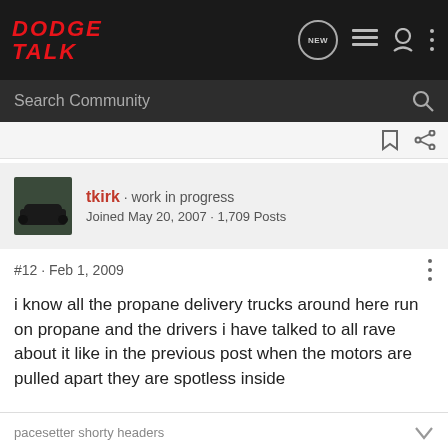DODGE TALK
Search Community
tkirk · work in progress
Joined May 20, 2007 · 1,709 Posts
#12 · Feb 1, 2009
i know all the propane delivery trucks around here run on propane and the drivers i have talked to all rave about it like in the previous post when the motors are pulled apart they are spotless inside
pacesetter shorty headers